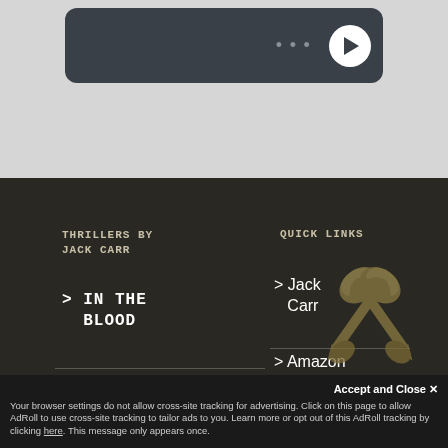[Figure (screenshot): Audio/media player bar with dark background, three dots menu icon and white circular play button]
THRILLERS BY JACK CARR
> IN THE BLOOD
> THE HAND
QUICK LINKS
> Jack Carr
> Amazon Store
> Buy
[Figure (logo): Crossed hammers / axes logo in olive/gold color]
Accept and Close ✕
Your browser settings do not allow cross-site tracking for advertising. Click on this page to allow AdRoll to use cross-site tracking to tailor ads to you. Learn more or opt out of this AdRoll tracking by clicking here. This message only appears once.